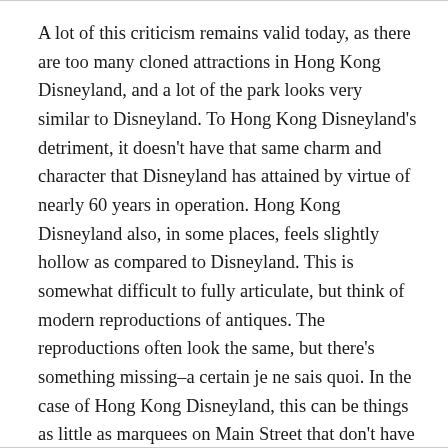A lot of this criticism remains valid today, as there are too many cloned attractions in Hong Kong Disneyland, and a lot of the park looks very similar to Disneyland. To Hong Kong Disneyland's detriment, it doesn't have that same charm and character that Disneyland has attained by virtue of nearly 60 years in operation. Hong Kong Disneyland also, in some places, feels slightly hollow as compared to Disneyland. This is somewhat difficult to fully articulate, but think of modern reproductions of antiques. The reproductions often look the same, but there's something missing–a certain je ne sais quoi. In the case of Hong Kong Disneyland, this can be things as little as marquees on Main Street that don't have the same depth and dimensionality, or as big as a Fantasyland that simply lacking in substance and that inviting feeling.